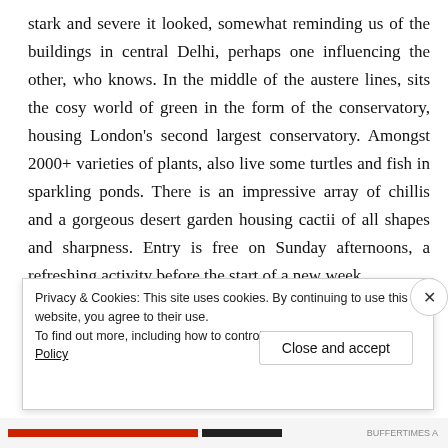stark and severe it looked, somewhat reminding us of the buildings in central Delhi, perhaps one influencing the other, who knows. In the middle of the austere lines, sits the cosy world of green in the form of the conservatory, housing London's second largest conservatory. Amongst 2000+ varieties of plants, also live some turtles and fish in sparkling ponds. There is an impressive array of chillis and a gorgeous desert garden housing cactii of all shapes and sharpness. Entry is free on Sunday afternoons, a refreshing activity before the start of a new week.
Privacy & Cookies: This site uses cookies. By continuing to use this website, you agree to their use.
To find out more, including how to control cookies, see here: Cookie Policy
Close and accept